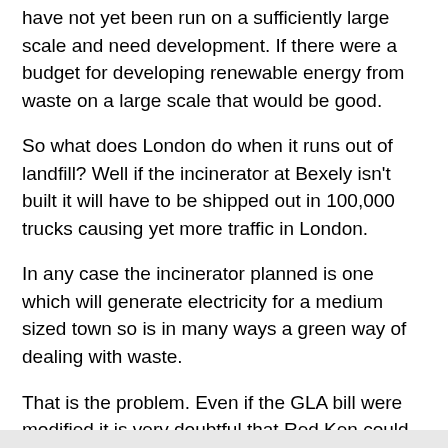have not yet been run on a sufficiently large scale and need development. If there were a budget for developing renewable energy from waste on a large scale that would be good.
So what does London do when it runs out of landfill? Well if the incinerator at Bexely isn't built it will have to be shipped out in 100,000 trucks causing yet more traffic in London.
In any case the incinerator planned is one which will generate electricity for a medium sized town so is in many ways a green way of dealing with waste.
That is the problem. Even if the GLA bill were modified it is very doubtful that Red Ken could have some alternative means of waste disposal available in the time. If he has some proposal up his sleeve he should say so.
Please note, the Hammersmith and Fulham Council is not yet on the web, I will add a link as soon as I can.